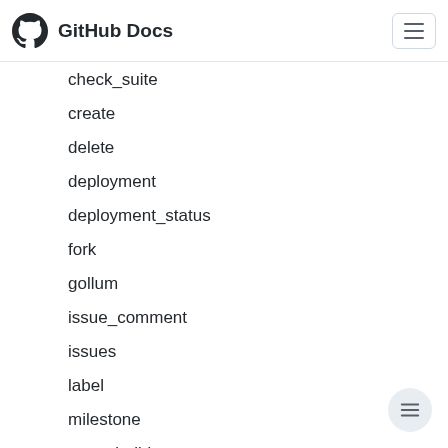GitHub Docs
check_suite
create
delete
deployment
deployment_status
fork
gollum
issue_comment
issues
label
milestone
page_build
project
project_card